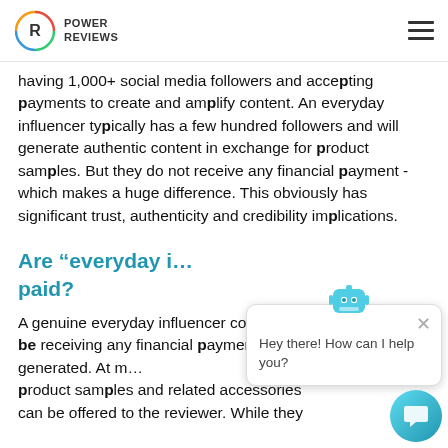POWER REVIEWS
having 1,000+ social media followers and accepting payments to create and amplify content. An everyday influencer typically has a few hundred followers and will generate authentic content in exchange for product samples. But they do not receive any financial payment - which makes a huge difference. This obviously has significant trust, authenticity and credibility implications.
Are “everyday influencers” paid?
A genuine everyday influencer community should not be receiving any financial payment for any reviews generated. At most, product samples and related accessories can be offered to the reviewer. While they